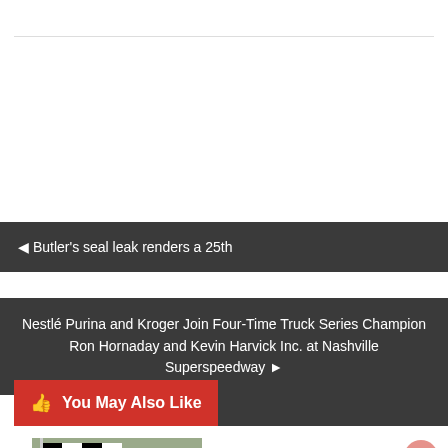◀ Butler's seal leak renders a 25th
Nestlé Purina and Kroger Join Four-Time Truck Series Champion Ron Hornaday and Kevin Harvick Inc. at Nashville Superspeedway ▶
You May Also Like
[Figure (photo): Racing photo showing checkered flag with race cars and crowd in background]